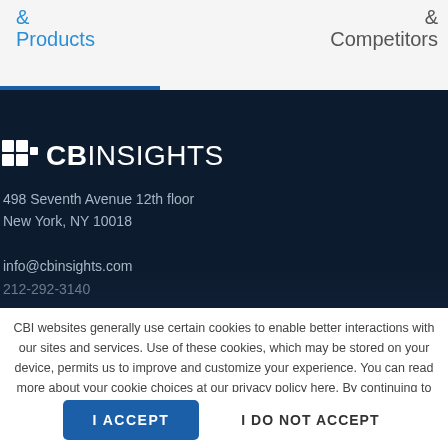& Products   & Competitors
[Figure (logo): CB Insights logo with white icon and text on dark navy background]
498 Seventh Avenue 12th floor
New York, NY 10018

info@cbinsights.com
CBI websites generally use certain cookies to enable better interactions with our sites and services. Use of these cookies, which may be stored on your device, permits us to improve and customize your experience. You can read more about your cookie choices at our privacy policy here. By continuing to use this site you are consenting to these choices.
I ACCEPT   I DO NOT ACCEPT